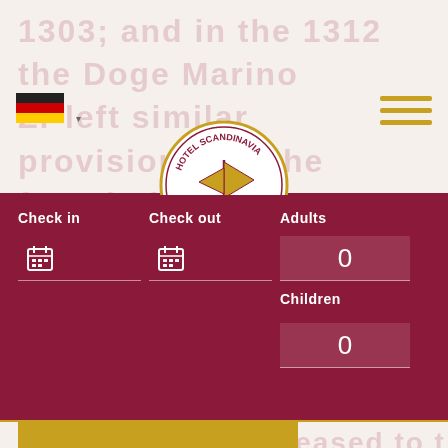1303; and in the 1312 the Doge Marino Zr left similar provisions for the foundation of a Franciscan monastery, with attached hospital: the first, with
[Figure (logo): Hotel Scandinavia circular logo — gold ship emblem on white background with text 'HOTEL SCANDINAVIA' around the border]
[Figure (other): German flag (black-red-gold) and dropdown arrow in navigation bar]
[Figure (other): Hamburger menu icon with three gold horizontal lines]
| Check in | Check out | Adults |
| --- | --- | --- |
| [calendar] | [calendar] | 0 |
Children
0
SEARCH
progressively increased to the south,